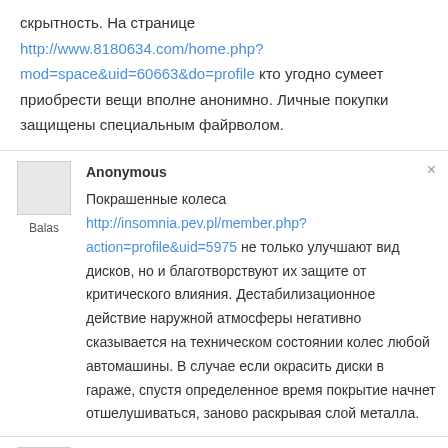скрытность. На странице http://www.8180634.com/home.php?mod=space&uid=60663&do=profile кто угодно сумеет приобрести вещи вполне анонимно. Личные покупки защищены специальным файрволом.
Anonymous
Покрашенные колеса http://insomnia.pev.pl/member.php?action=profile&uid=5975 не только улучшают вид дисков, но и благотворствуют их защите от критического влияния. Дестабилизационное действие наружной атмосферы негативно сказывается на техническом состоянии колес любой автомашины. В случае если окрасить диски в гараже, спустя определенное время покрытие начнет отшелушиваться, заново раскрывая слой металла.
Anonymous
Организация туризма по родным городам – сегодня св...